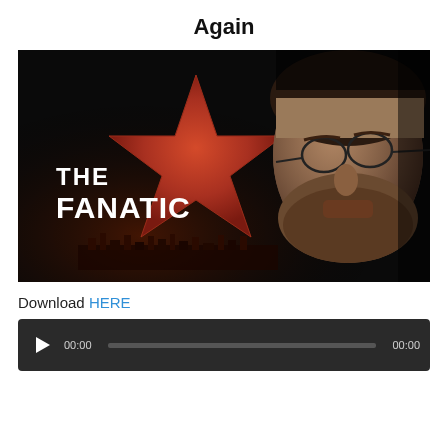Again
[Figure (photo): Movie poster/promotional image for 'The Fanatic' showing a large red Hollywood Walk of Fame star with 'THE FANATIC' text, and a close-up of a bearded man wearing round glasses on the right side, against a dark background.]
Download HERE
[Figure (other): Audio player widget with dark background, play button, time counter showing 00:00, progress bar, and end time showing 00:00.]